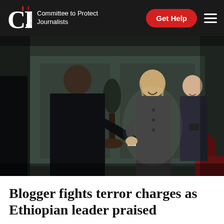CPJ — Committee to Protect Journalists
[Figure (photo): Photo of two people shaking hands in an ornate room. A woman on the right laughs warmly while shaking hands with a man on the left in a dark suit. A second woman stands in the background smiling. The setting appears formal and European.]
Blogger fights terror charges as Ethiopian leader praised
April 3, 2012 10:58 AM EDT